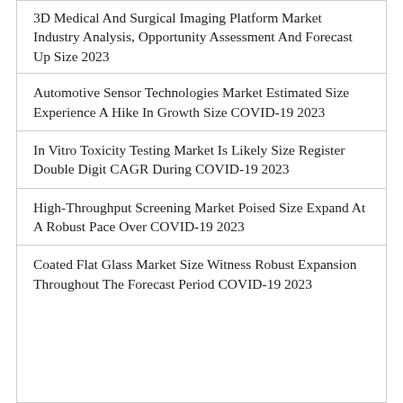3D Medical And Surgical Imaging Platform Market Industry Analysis, Opportunity Assessment And Forecast Up Size 2023
Automotive Sensor Technologies Market Estimated Size Experience A Hike In Growth Size COVID-19 2023
In Vitro Toxicity Testing Market Is Likely Size Register Double Digit CAGR During COVID-19 2023
High-Throughput Screening Market Poised Size Expand At A Robust Pace Over COVID-19 2023
Coated Flat Glass Market Size Witness Robust Expansion Throughout The Forecast Period COVID-19 2023